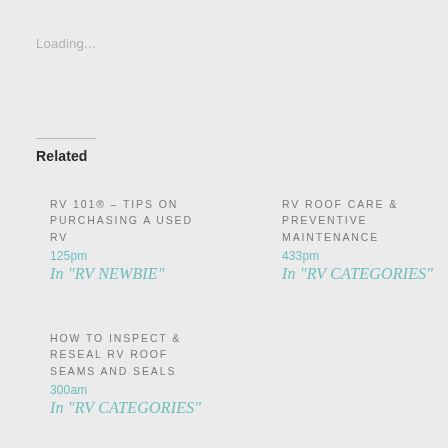Loading...
Related
RV 101® – TIPS ON PURCHASING A USED RV
125pm
In "RV NEWBIE"
RV ROOF CARE & PREVENTIVE MAINTENANCE
433pm
In "RV CATEGORIES"
HOW TO INSPECT & RESEAL RV ROOF SEAMS AND SEALS
300am
In "RV CATEGORIES"